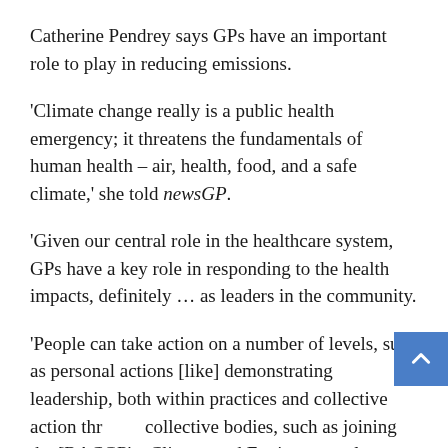Catherine Pendrey says GPs have an important role to play in reducing emissions.
'Climate change really is a public health emergency; it threatens the fundamentals of human health – air, health, food, and a safe climate,' she told newsGP.
'Given our central role in the healthcare system, GPs have a key role in responding to the health impacts, definitely … as leaders in the community.
'People can take action on a number of levels, such as personal actions [like] demonstrating leadership, both within practices and collective action thr collective bodies, such as joining the [RACGP's] Climate and Environmental Medicine special interest group.'